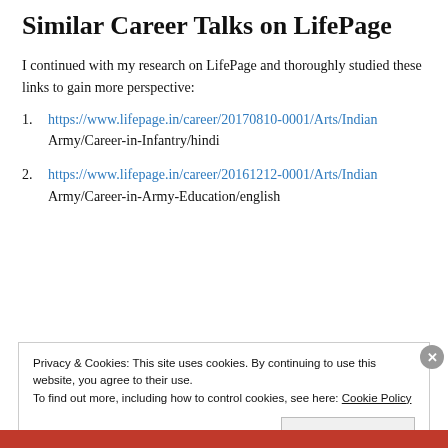Similar Career Talks on LifePage
I continued with my research on LifePage and thoroughly studied these links to gain more perspective:
https://www.lifepage.in/career/20170810-0001/Arts/Indian Army/Career-in-Infantry/hindi
https://www.lifepage.in/career/20161212-0001/Arts/Indian Army/Career-in-Army-Education/english
Privacy & Cookies: This site uses cookies. By continuing to use this website, you agree to their use.
To find out more, including how to control cookies, see here: Cookie Policy
Close and accept